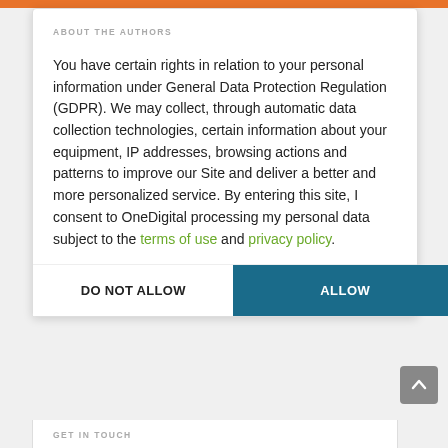ABOUT THE AUTHORS
You have certain rights in relation to your personal information under General Data Protection Regulation (GDPR). We may collect, through automatic data collection technologies, certain information about your equipment, IP addresses, browsing actions and patterns to improve our Site and deliver a better and more personalized service. By entering this site, I consent to OneDigital processing my personal data subject to the terms of use and privacy policy.
DO NOT ALLOW
ALLOW
GET IN TOUCH